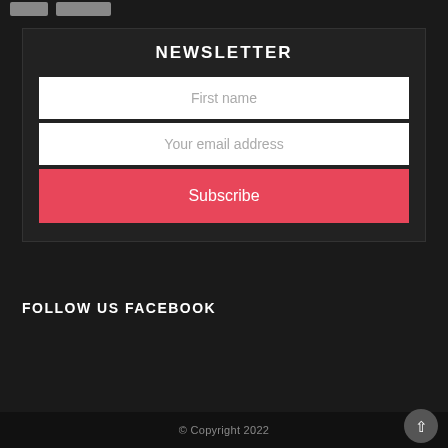NEWSLETTER
First name
Your email address
Subscribe
FOLLOW US FACEBOOK
© Copyright 2022